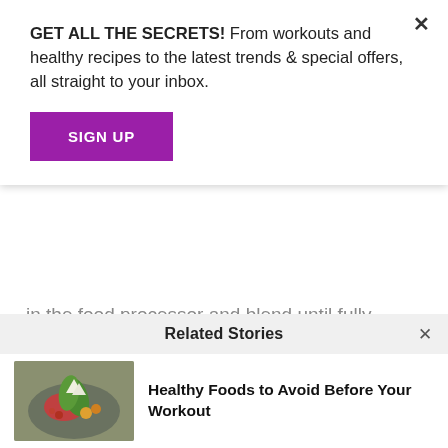GET ALL THE SECRETS! From workouts and healthy recipes to the latest trends & special offers, all straight to your inbox.
SIGN UP
in the food processor and blend until fully mixed and smooth.
Roast trout with an almond crust and pumpkin seed crust, with roasted broccoli and asparagus warm salad
Related Stories
Healthy Foods to Avoid Before Your Workout